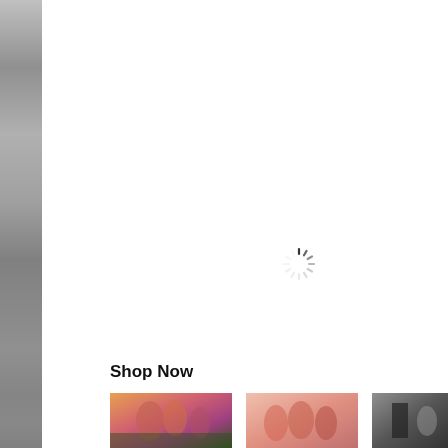[Figure (other): Gray gradient left sidebar strip]
[Figure (other): Spinning loading indicator (spinner) in center-right area of white main content area]
Shop Now
[Figure (photo): Thumbnail image 1: group of people outdoors, tropical setting, warm tones]
[Figure (photo): Thumbnail image 2: group of people in energetic/celebratory pose, light pink background]
[Figure (photo): Thumbnail image 3: people near a doorway/building, dark tones]